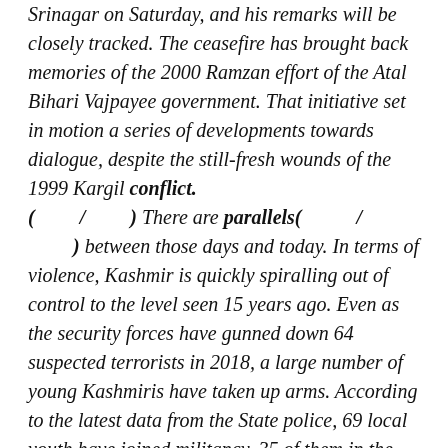Srinagar on Saturday, and his remarks will be closely tracked. The ceasefire has brought back memories of the 2000 Ramzan effort of the Atal Bihari Vajpayee government. That initiative set in motion a series of developments towards dialogue, despite the still-fresh wounds of the 1999 Kargil conflict. ( / ) There are parallels( / ) between those days and today. In terms of violence, Kashmir is quickly spiralling out of control to the level seen 15 years ago. Even as the security forces have gunned down 64 suspected terrorists in 2018, a large number of young Kashmiris have taken up arms. According to the latest data from the State police, 69 local youth have joined militancy, 35 of them in the wake of the April 1 operations in which